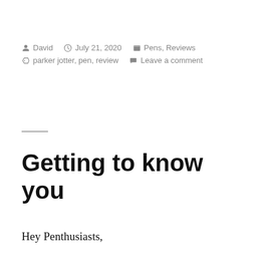David  July 21, 2020  Pens, Reviews  parker jotter, pen, review  Leave a comment
Getting to know you
Hey Penthusiasts,